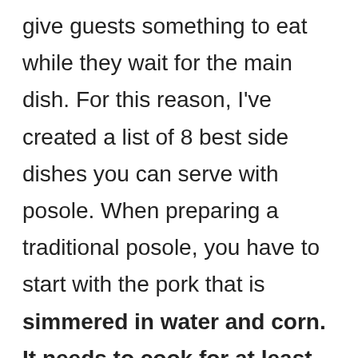give guests something to eat while they wait for the main dish. For this reason, I've created a list of 8 best side dishes you can serve with posole. When preparing a traditional posole, you have to start with the pork that is simmered in water and corn. It needs to cook for at least four hours but can take as long as eight hours. Once the pork is cooked, it can be removed from the pot. This will leave room for people to